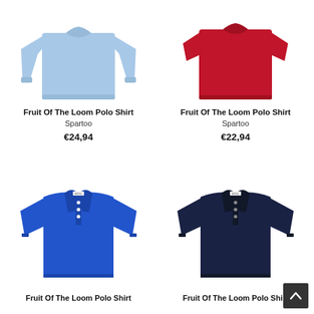[Figure (photo): Light blue long-sleeve polo shirt from Fruit of the Loom, top-left product]
Fruit Of The Loom Polo Shirt
Spartoo
€24,94
[Figure (photo): Red short-sleeve polo shirt from Fruit of the Loom, top-right product]
Fruit Of The Loom Polo Shirt
Spartoo
€22,94
[Figure (photo): Royal blue short-sleeve polo shirt from Fruit of the Loom, bottom-left product]
Fruit Of The Loom Polo Shirt
[Figure (photo): Navy blue short-sleeve polo shirt from Fruit of the Loom, bottom-right product]
Fruit Of The Loom Polo Shirt